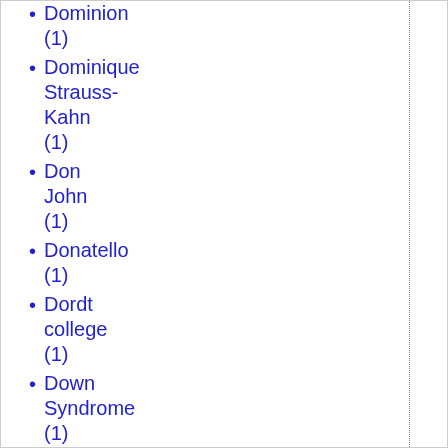Dominion (1)
Dominique Strauss-Kahn (1)
Don John (1)
Donatello (1)
Dordt college (1)
Down Syndrome (1)
Down's Syndrome (2)
Dr. Edmund Daniel Pellegrino (1)